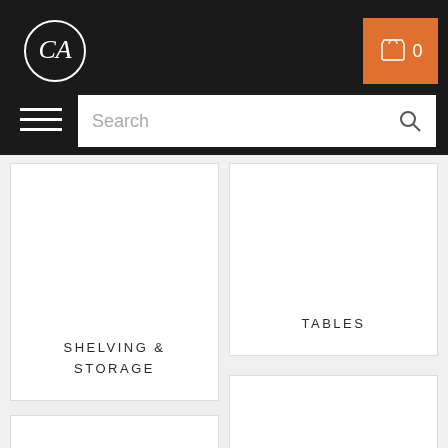Website header with logo, cart button (0 items), hamburger menu, and search bar
SHELVING & STORAGE
TABLES